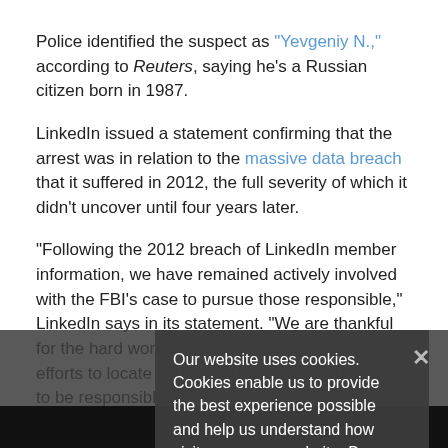Police identified the suspect as "Yevgeniy N.," according to Reuters, saying he's a Russian citizen born in 1987.
LinkedIn issued a statement confirming that the arrest was in relation to the massive data breach that it suffered in 2012, the full severity of which it didn't uncover until four years later.
"Following the 2012 breach of LinkedIn member information, we have remained actively involved with the FBI's case to pursue those responsible," LinkedIn says in its statement. "We are thankful for the hard work and dedication of the FBI in its efforts to locate and capture the parties believed to be responsible for this criminal activity."
[Figure (screenshot): Cookie consent popup overlay on a dark semi-transparent background reading: 'Our website uses cookies. Cookies enable us to provide the best experience possible and help us understand how visitors use our website. By browsing govinfosecurity.com, you agree to our use of cookies.' with an X close button.]